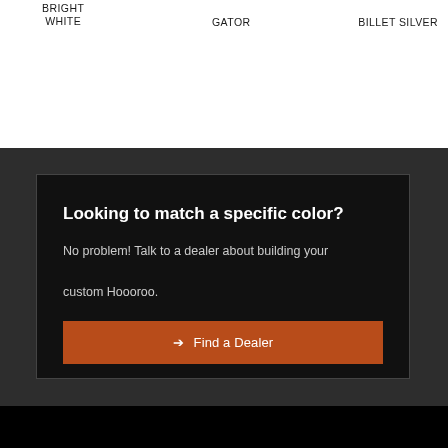BRIGHT WHITE
GATOR
BILLET SILVER
Looking to match a specific color?
No problem! Talk to a dealer about building your custom Hoooroo.
➔ Find a Dealer